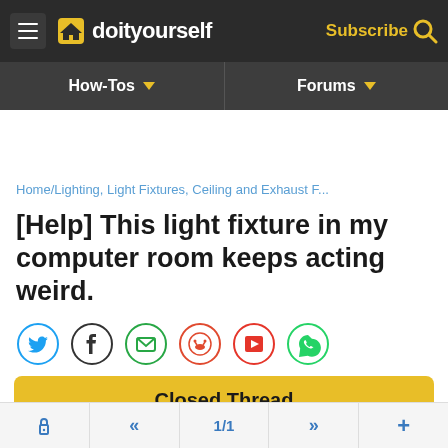doityourself — Subscribe
How-Tos | Forums
Home/Lighting, Light Fixtures, Ceiling and Exhaust F...
[Help] This light fixture in my computer room keeps acting weird.
[Figure (other): Social share icons row: Twitter, Facebook, Email, Reddit, Flipboard, WhatsApp]
Closed Thread
ADVERTISEMENT
lock | << | 1/1 | >> | +